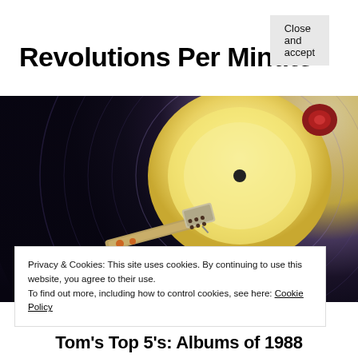Revolutions Per Minute
[Figure (photo): Close-up photograph of a vinyl record on a turntable, showing the record's grooves in dark blue-black tones with the illuminated yellow-white label visible in the upper right, and a silver/gold tonearm with cartridge in the lower center foreground.]
Privacy & Cookies: This site uses cookies. By continuing to use this website, you agree to their use.
To find out more, including how to control cookies, see here: Cookie Policy
Close and accept
Tom's Top 5's: Albums of 1988